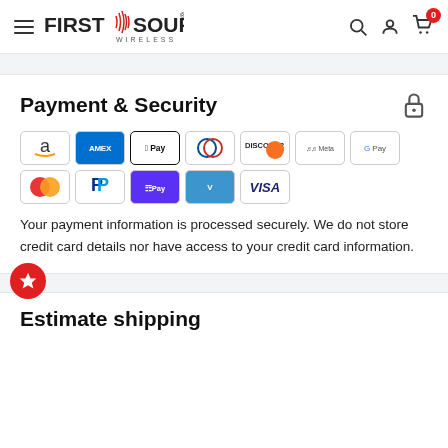[Figure (logo): First Source Wireless logo with hamburger menu icon on the left and search, account, cart icons on the right]
Payment & Security
[Figure (infographic): Payment method icons: Amazon, Amex, Apple Pay, Diners Club, Discover, Meta Pay, Google Pay, Mastercard, PayPal, Shop Pay, Venmo, Visa]
Your payment information is processed securely. We do not store credit card details nor have access to your credit card information.
Estimate shipping